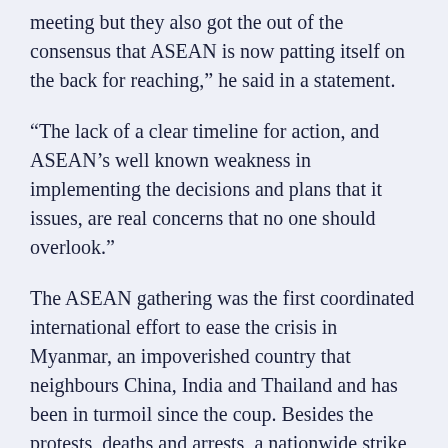meeting but they also got the out of the consensus that ASEAN is now patting itself on the back for reaching,” he said in a statement.
“The lack of a clear timeline for action, and ASEAN’s well known weakness in implementing the decisions and plans that it issues, are real concerns that no one should overlook.”
The ASEAN gathering was the first coordinated international effort to ease the crisis in Myanmar, an impoverished country that neighbours China, India and Thailand and has been in turmoil since the coup. Besides the protests, deaths and arrests, a nationwide strike has crippled economic activity.
Myanmar’s parallel National Unity Government (NUG), comprised of pro-democracy figures,